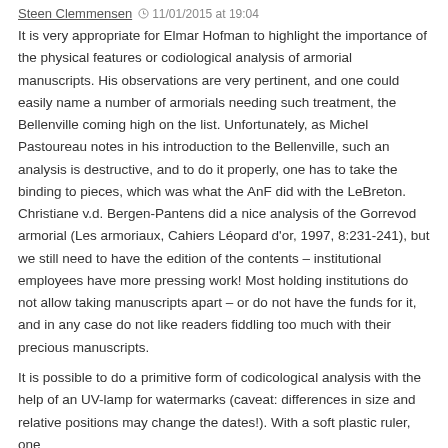Steen Clemmensen 11/01/2015 at 19:04
It is very appropriate for Elmar Hofman to highlight the importance of the physical features or codiological analysis of armorial manuscripts. His observations are very pertinent, and one could easily name a number of armorials needing such treatment, the Bellenville coming high on the list. Unfortunately, as Michel Pastoureau notes in his introduction to the Bellenville, such an analysis is destructive, and to do it properly, one has to take the binding to pieces, which was what the AnF did with the LeBreton. Christiane v.d. Bergen-Pantens did a nice analysis of the Gorrevod armorial (Les armoriaux, Cahiers Léopard d'or, 1997, 8:231-241), but we still need to have the edition of the contents – institutional employees have more pressing work! Most holding institutions do not allow taking manuscripts apart – or do not have the funds for it, and in any case do not like readers fiddling too much with their precious manuscripts.
It is possible to do a primitive form of codicological analysis with the help of an UV-lamp for watermarks (caveat: differences in size and relative positions may change the dates!). With a soft plastic ruler, one